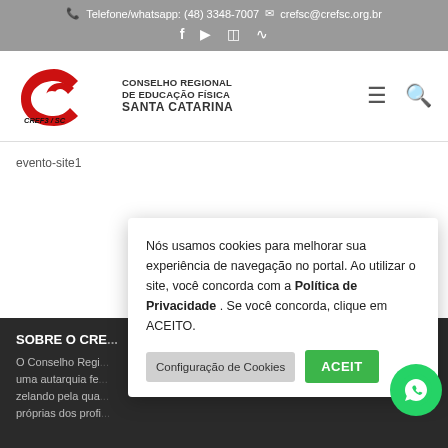Telefone/whatsapp: (48) 3348-7007  crefsc@crefsc.org.br
[Figure (logo): CREF3/SC logo with red swirl C shape and text: CONSELHO REGIONAL DE EDUCAÇÃO FÍSICA SANTA CATARINA]
evento-site1
SOBRE O CRE...
O Conselho Regi... uma autarquia fe... zelando pela qua... próprias dos profi...
Nós usamos cookies para melhorar sua experiência de navegação no portal. Ao utilizar o site, você concorda com a Política de Privacidade . Se você concorda, clique em ACEITO.
Configuração de Cookies  ACEITO